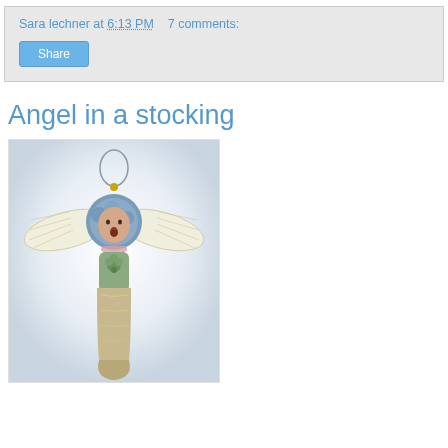Sara lechner at 6:13 PM   7 comments:
Share
Angel in a stocking
[Figure (photo): A handmade angel ornament in a stocking — the angel has a round blue yarn head, open mouth, cream-colored yarn wings spread wide, a green body with a small bow/flower, and sits in a tan/gold glittery stocking. A gold wire loop at the top for hanging.]